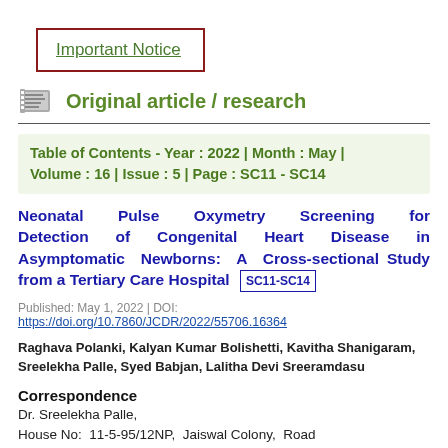Important Notice
Original article / research
Table of Contents - Year : 2022 | Month : May | Volume : 16 | Issue : 5 | Page : SC11 - SC14
Neonatal Pulse Oxymetry Screening for Detection of Congenital Heart Disease in Asymptomatic Newborns: A Cross-sectional Study from a Tertiary Care Hospital SC11-SC14
Published: May 1, 2022 | DOI: https://doi.org/10.7860/JCDR/2022/55706.16364
Raghava Polanki, Kalyan Kumar Bolishetti, Kavitha Shanigaram, Sreelekha Palle, Syed Babjan, Lalitha Devi Sreeramdasu
Correspondence
Dr. Sreelekha Palle,
House No: 11-5-95/12NP, Jaiswal Colony, Road